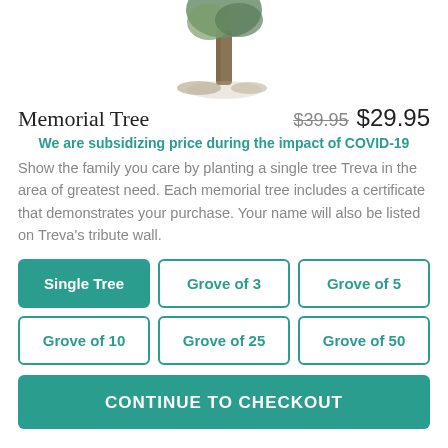[Figure (illustration): Illustration of a single tree with trunk and roots, partially cropped at the top]
Memorial Tree  $39.95  $29.95
We are subsidizing price during the impact of COVID-19
Show the family you care by planting a single tree Treva in the area of greatest need. Each memorial tree includes a certificate that demonstrates your purchase. Your name will also be listed on Treva's tribute wall.
Single Tree
Grove of 3
Grove of 5
Grove of 10
Grove of 25
Grove of 50
CONTINUE TO CHECKOUT